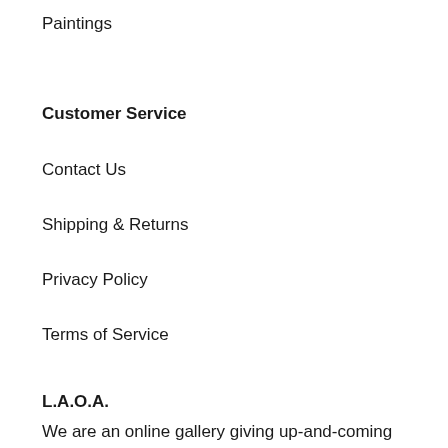Paintings
Customer Service
Contact Us
Shipping & Returns
Privacy Policy
Terms of Service
L.A.O.A.
We are an online gallery giving up-and-coming artists a place to show and sell work, and do so...